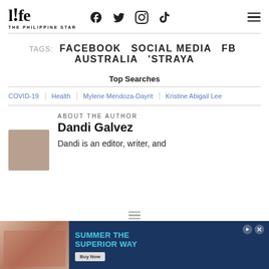life THE PHILIPPINE STAR
TAGS: FACEBOOK  SOCIAL MEDIA  FB AUSTRALIA  'STRAYA
Top Searches
COVID-19 | Health | Mylene Mendoza-Dayrit | Kristine Abigail Lee
ABOUT THE AUTHOR
Dandi Galvez
Dandi is an editor, writer, and
[Figure (photo): Advertisement banner: Summer The Superior Way promotion with Buy Now button]
[Figure (photo): Author photo of Dandi Galvez (partially visible)]